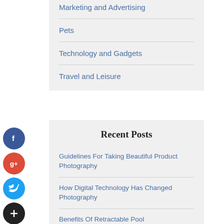Marketing and Advertising
Pets
Technology and Gadgets
Travel and Leisure
Recent Posts
Guidelines For Taking Beautiful Product Photography
How Digital Technology Has Changed Photography
Benefits Of Retractable Pool...